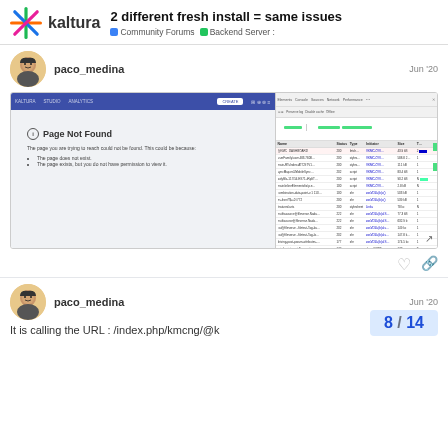2 different fresh install = same issues | Community Forums | Backend Server
paco_medina — Jun '20
[Figure (screenshot): Screenshot showing a 'Page Not Found' error in a Kaltura interface on the left, and browser DevTools Network panel on the right showing multiple HTTP requests.]
paco_medina — Jun '20
It is calling the URL : /index.php/kmcng/@k
8 / 14